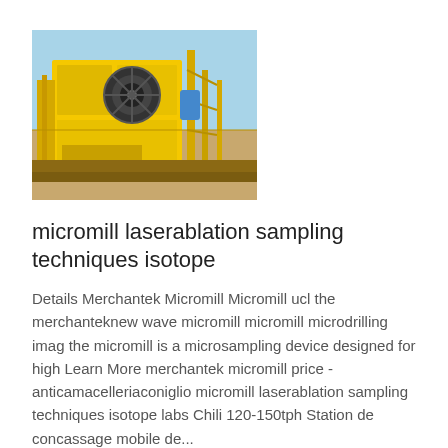[Figure (photo): Industrial yellow heavy machinery/equipment on a construction or mining site against a blue sky background]
micromill laserablation sampling techniques isotope
Details Merchantek Micromill Micromill ucl the merchanteknew wave micromill micromill microdrilling imag the micromill is a microsampling device designed for high Learn More merchantek micromill price - anticamacelleriaconiglio micromill laserablation sampling techniques isotope labs Chili 120-150tph Station de concassage mobile de...
Know More